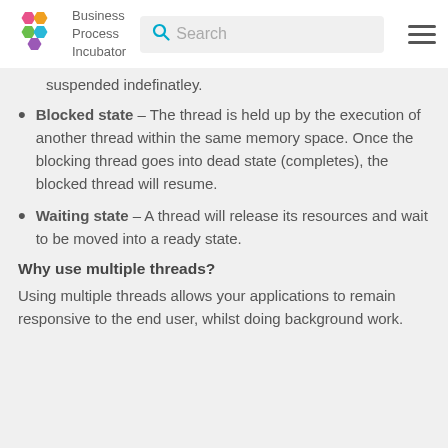Business Process Incubator — Search — Menu
suspended indefinatley.
Blocked state – The thread is held up by the execution of another thread within the same memory space. Once the blocking thread goes into dead state (completes), the blocked thread will resume.
Waiting state – A thread will release its resources and wait to be moved into a ready state.
Why use multiple threads?
Using multiple threads allows your applications to remain responsive to the end user, whilst doing background work.